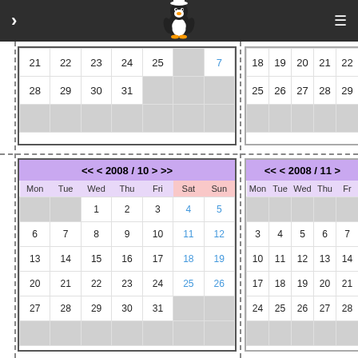Navigation header with penguin mascot
| Mon | Tue | Wed | Thu | Fri | Sat | Sun |
| --- | --- | --- | --- | --- | --- | --- |
| 21 | 22 | 23 | 24 | 25 |  | 7 |
| 28 | 29 | 30 | 31 |  |  |  |
|  |
| Mon | Tue | Wed | Thu | Fri |
| --- | --- | --- | --- | --- |
| 18 | 19 | 20 | 21 | 22 |
| 25 | 26 | 27 | 28 | 29 |
| Mon | Tue | Wed | Thu | Fri | Sat | Sun |
| --- | --- | --- | --- | --- | --- | --- |
|  |  | 1 | 2 | 3 | 4 | 5 |
| 6 | 7 | 8 | 9 | 10 | 11 | 12 |
| 13 | 14 | 15 | 16 | 17 | 18 | 19 |
| 20 | 21 | 22 | 23 | 24 | 25 | 26 |
| 27 | 28 | 29 | 30 | 31 |  |  |
|  |
| Mon | Tue | Wed | Thu | Fri |
| --- | --- | --- | --- | --- |
|  |  |  |  |  |
| 3 | 4 | 5 | 6 | 7 |
| 10 | 11 | 12 | 13 | 14 |
| 17 | 18 | 19 | 20 | 21 |
| 24 | 25 | 26 | 27 | 28 |
|  |